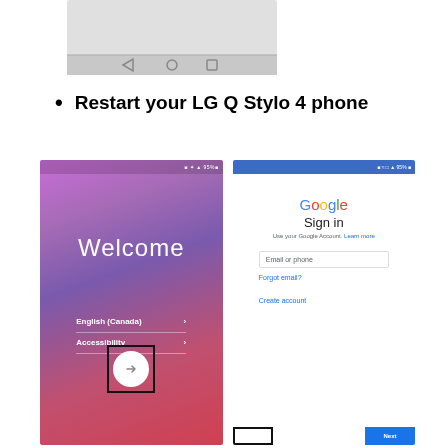[Figure (screenshot): Partial screenshot of a phone showing navigation bar at the bottom with back, home, and recent app buttons on a light gray background.]
Restart your LG Q Stylo 4 phone
[Figure (screenshot): Two side-by-side smartphone screenshots. Left: LG phone Welcome screen with gradient purple-pink background, showing 'Welcome', 'English (Canada)' and 'Accessibility' options, and a circled arrow button highlighted with a black box. Right: Google Sign in screen with Google logo, 'Sign in' heading, 'Use your Google Account. Learn more', 'Email or phone' input field, 'Forgot email?' link, and 'Create account' link.]